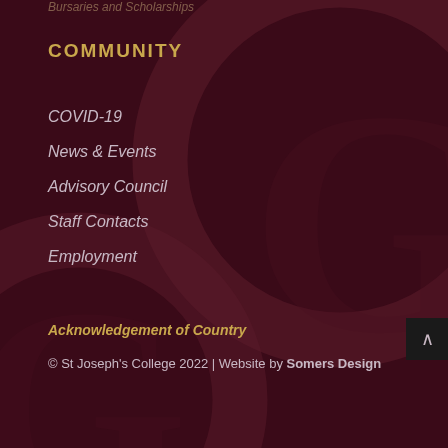Bursaries and Scholarships
COMMUNITY
COVID-19
News & Events
Advisory Council
Staff Contacts
Employment
Acknowledgement of Country
© St Joseph's College 2022 | Website by Somers Design